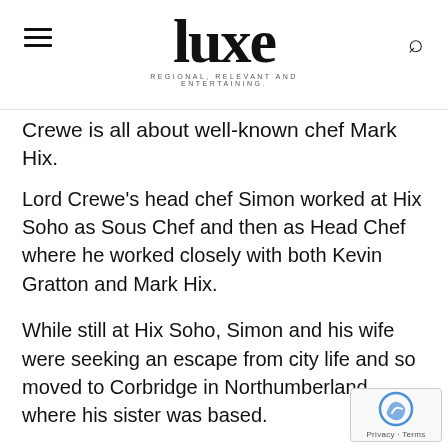luxe — REGIONAL, RELEVANT AND ENTERTAINING.
Crewe is all about well-known chef Mark Hix.
Lord Crewe's head chef Simon worked at Hix Soho as Sous Chef and then as Head Chef where he worked closely with both Kevin Gratton and Mark Hix.
While still at Hix Soho, Simon and his wife were seeking an escape from city life and so moved to Corbridge in Northumberland where his sister was based.
For a while he was able to commute between the north and his job in London. "Nevertheless, I was ideally seeking a great pub/restaurant nearer to home that would showcase British food done